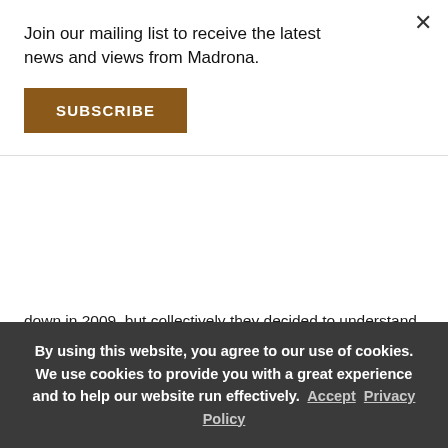Join our mailing list to receive the latest news and views from Madrona.
SUBSCRIBE
down in 2009, but collectively they decided to understand the needs of business-based customer better and persevered. The team iterated into a better product front-end, but at that point had limited capital to acquire customers. Learning how to cost effectively acquire customers through Search Engine Optimization (SEO) and Search Engine Marketing (SEM) became an enduring strength of the company. In 2011, they discovered that
By using this website, you agree to our use of cookies. We use cookies to provide you with a great experience and to help our website run effectively.  Accept  Privacy Policy